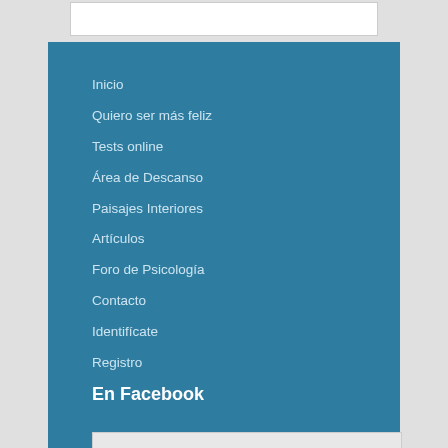Inicio
Quiero ser más feliz
Tests online
Área de Descanso
Paisajes Interiores
Artículos
Foro de Psicología
Contacto
Identifícate
Registro
En Facebook
[Figure (other): En Facebook placeholder box with light gray background and dimmed text 'En Facebook']